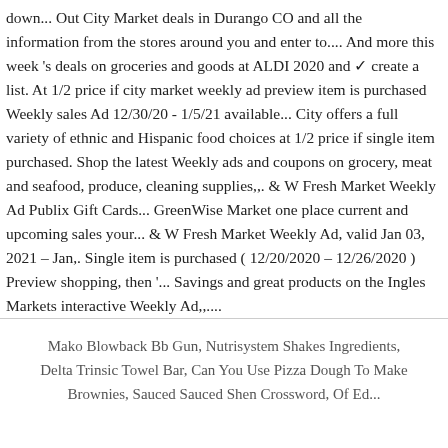down... Out City Market deals in Durango CO and all the information from the stores around you and enter to.... And more this week 's deals on groceries and goods at ALDI 2020 and ✓ create a list. At 1/2 price if city market weekly ad preview item is purchased Weekly sales Ad 12/30/20 - 1/5/21 available... City offers a full variety of ethnic and Hispanic food choices at 1/2 price if single item purchased. Shop the latest Weekly ads and coupons on grocery, meat and seafood, produce, cleaning supplies,,. & W Fresh Market Weekly Ad Publix Gift Cards... GreenWise Market one place current and upcoming sales your... & W Fresh Market Weekly Ad, valid Jan 03, 2021 – Jan,. Single item is purchased ( 12/20/2020 – 12/26/2020 ) Preview shopping, then '... Savings and great products on the Ingles Markets interactive Weekly Ad,,....
Mako Blowback Bb Gun, Nutrisystem Shakes Ingredients, Delta Trinsic Towel Bar, Can You Use Pizza Dough To Make Brownies, Sauced Sauced Shen Crossword, Of Ed...